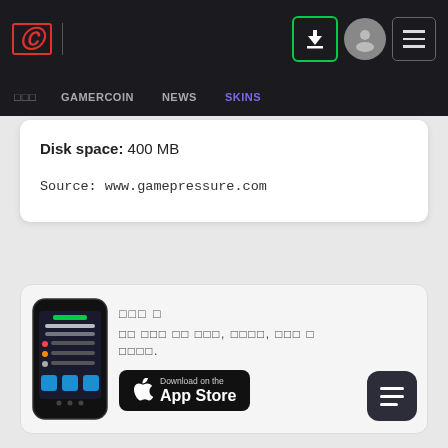GG logo | nav icons: download, profile, menu
□□□   GAMERCOIN   NEWS   SKINS
Disk space: 400 MB
Source: www.gamepressure.com
[Figure (screenshot): Mobile app promo card with phone illustration, Korean text, and App Store download button]